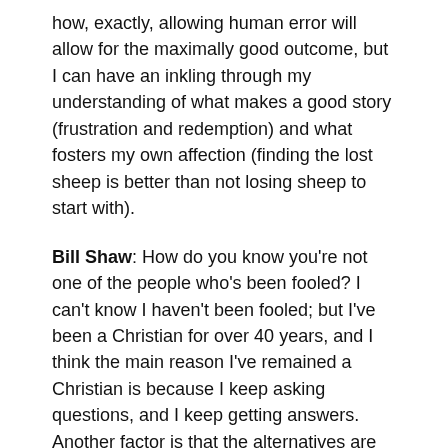how, exactly, allowing human error will allow for the maximally good outcome, but I can have an inkling through my understanding of what makes a good story (frustration and redemption) and what fosters my own affection (finding the lost sheep is better than not losing sheep to start with).
Bill Shaw: How do you know you're not one of the people who's been fooled? I can't know I haven't been fooled; but I've been a Christian for over 40 years, and I think the main reason I've remained a Christian is because I keep asking questions, and I keep getting answers. Another factor is that the alternatives are much less convincing; the more I look at atheism, for example, the weaker it gets. It says we're the accidental products of time and chance; we're machines ('wet robots' is a phrase that Jerry Coyne uses) with no free will and no basis for reason or values; and when we die, we rot. And why